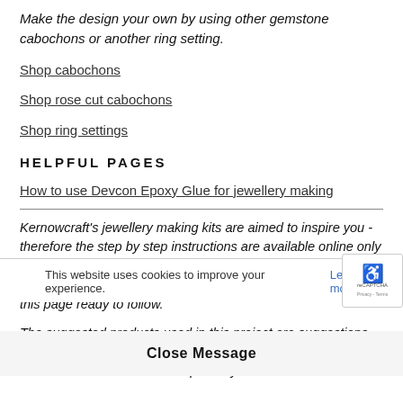Make the design your own by using other gemstone cabochons or another ring setting.
Shop cabochons
Shop rose cut cabochons
Shop ring settings
HELPFUL PAGES
How to use Devcon Epoxy Glue for jewellery making
Kernowcraft's jewellery making kits are aimed to inspire you - therefore the step by step instructions are available online only with a shopping list, where you can easily customise the design to suit you. We recommend printing or bookmarking this page ready to follow.
The suggested products used in this project are suggestions inspire y... but do be... stocks can vary, so do use your own common sense as to the compatibility
This website uses cookies to improve your experience. Learn more
Close Message